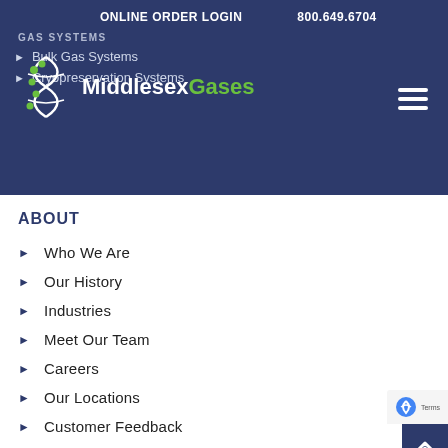ONLINE ORDER LOGIN   800.649.6704
GAS SYSTEMS
[Figure (logo): Middlesex Gases logo with DNA helix graphic. White text 'Middlesex' and green text 'Gases'.]
Bulk Gas Systems
Cryopreservation Systems
ABOUT
Who We Are
Our History
Industries
Meet Our Team
Careers
Our Locations
Customer Feedback
Contact Us